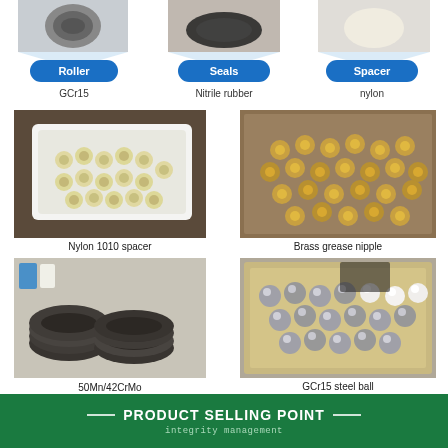[Figure (photo): Top row: three product photos — roller bearing, rubber seals (fan shape), nylon spacer — with blue diamond accent lines pointing downward, above blue pill labels]
Roller
Seals
Spacer
GCr15
Nitrile rubber
nylon
[Figure (photo): Nylon 1010 spacer: white nylon caps in a white foam tray on a dark background]
Nylon 1010 spacer
[Figure (photo): Brass grease nipple: many brass fittings/nipples piled in a wooden box]
Brass grease nipple
[Figure (photo): 50Mn/42CrMo Carbon steel Ring: black carbon steel rings stacked on a surface with cans in the background]
50Mn/42CrMo
Carbon steel Ring
[Figure (photo): GCr15 steel ball: steel balls and white balls in a cardboard box]
GCr15 steel ball
PRODUCT SELLING POINT
integrity management